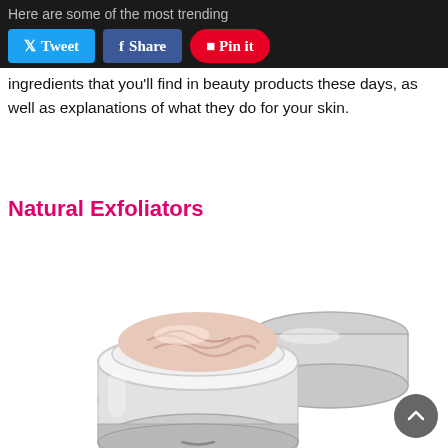Here are some of the most trending ingredients that you'll find in beauty products these days, as well as explanations of what they do for your skin.
Here are some of the most trending ingredients that you'll find in beauty products these days, as well as explanations of what they do for your skin.
Natural Exfoliators
[Figure (photo): Two silver cosmetic cream jars, one open showing a pink-beige cream inside, on a white background.]